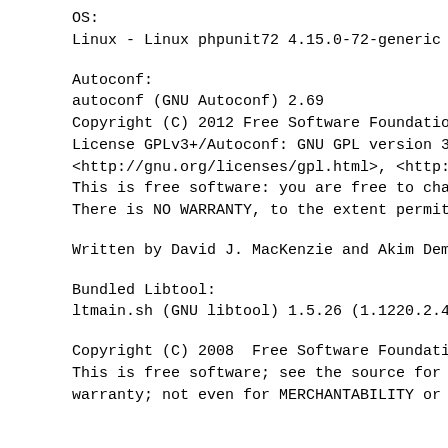OS:
Linux - Linux phpunit72 4.15.0-72-generic #
Autoconf:
autoconf (GNU Autoconf) 2.69
Copyright (C) 2012 Free Software Foundation
License GPLv3+/Autoconf: GNU GPL version 3
<http://gnu.org/licenses/gpl.html>, <http:/
This is free software: you are free to chan
There is NO WARRANTY, to the extent permitt
Written by David J. MacKenzie and Akim Dema
Bundled Libtool:
ltmain.sh (GNU libtool) 1.5.26 (1.1220.2.49
Copyright (C) 2008  Free Software Foundatio
This is free software; see the source for c
warranty; not even for MERCHANTABILITY or F